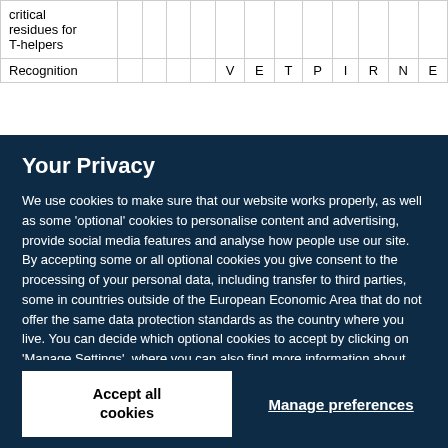|  |  |  |  |  | V | E | T | P | I | R | N | E |
| --- | --- | --- | --- | --- | --- | --- | --- | --- | --- | --- | --- | --- |
| critical residues for T-helpers |  |  |  |  |  |  |  |  |  |  |  |  |
| Recognition |  |  |  |  | V | E | T | P | I | R | N | E |
Your Privacy
We use cookies to make sure that our website works properly, as well as some 'optional' cookies to personalise content and advertising, provide social media features and analyse how people use our site. By accepting some or all optional cookies you give consent to the processing of your personal data, including transfer to third parties, some in countries outside of the European Economic Area that do not offer the same data protection standards as the country where you live. You can decide which optional cookies to accept by clicking on 'Manage Settings', where you can also find more information about how your personal data is processed. Further information can be found in our privacy policy.
Accept all cookies
Manage preferences